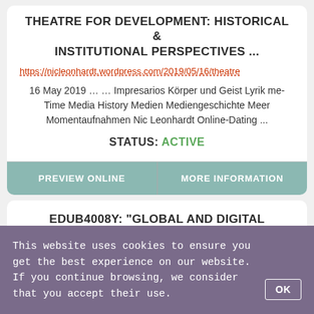THEATRE FOR DEVELOPMENT: HISTORICAL & INSTITUTIONAL PERSPECTIVES ...
https://nicleonhardt.wordpress.com/2019/05/16/theatre
16 May 2019 … … Impresarios Körper und Geist Lyrik me-Time Media History Medien Mediengeschichte Meer Momentaufnahmen Nic Leonhardt Online-Dating ...
STATUS: ACTIVE
PREVIEW ONLINE
MORE INFORMATION
EDUB4008Y: "GLOBAL AND DIGITAL PERSPECTIVES IN ...
This website uses cookies to ensure you get the best experience on our website. If you continue browsing, we consider that you accept their use.